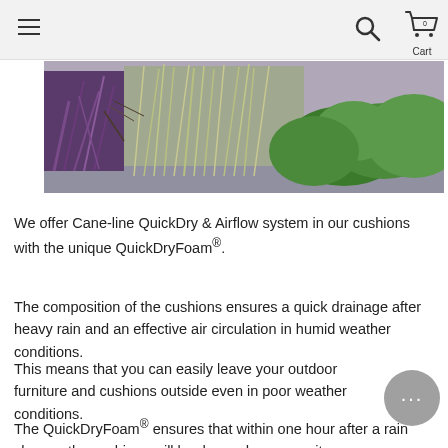Navigation bar with hamburger menu, search icon, and cart (0)
[Figure (photo): Outdoor garden scene with ornamental grasses, purple plants, and green shrubs/hedges in a landscaped setting]
We offer Cane-line QuickDry & Airflow system in our cushions with the unique QuickDryFoam®.
The composition of the cushions ensures a quick drainage after heavy rain and an effective air circulation in humid weather conditions.
This means that you can easily leave your outdoor furniture and cushions outside even in poor weather conditions.
The QuickDryFoam® ensures that within one hour after a rain shower, the cushions will be dry, and you can sit